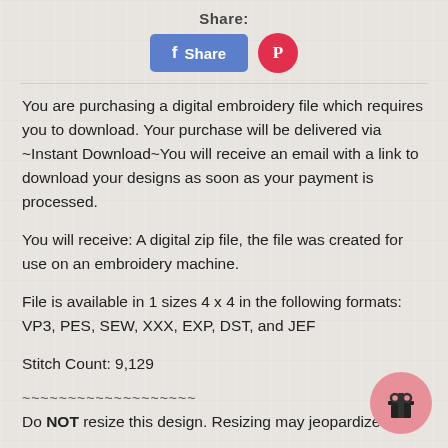Share:
[Figure (other): Facebook Share button and Pinterest button]
You are purchasing a digital embroidery file which requires you to download. Your purchase will be delivered via ~Instant Download~You will receive an email with a link to download your designs as soon as your payment is processed.
You will receive: A digital zip file, the file was created for use on an embroidery machine.
File is available in 1 sizes 4 x 4 in the following formats: VP3, PES, SEW, XXX, EXP, DST, and JEF
Stitch Count: 9,129
~~~~~~~~~~~~~~~~~~~
Do NOT resize this design. Resizing may jeopardize the